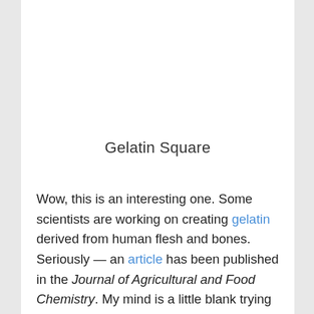Gelatin Square
Wow, this is an interesting one. Some scientists are working on creating gelatin derived from human flesh and bones. Seriously — an article has been published in the Journal of Agricultural and Food Chemistry. My mind is a little blank trying to think of what to say about this. On the one